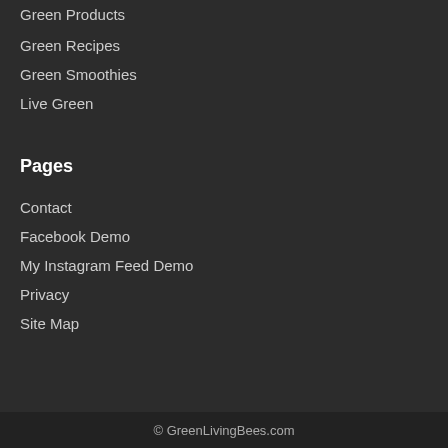Green Products
Green Recipes
Green Smoothies
Live Green
Pages
Contact
Facebook Demo
My Instagram Feed Demo
Privacy
Site Map
© GreenLivingBees.com